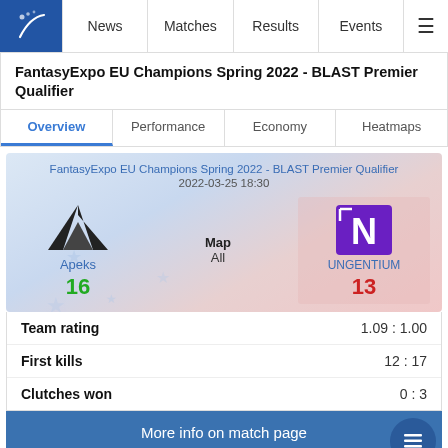News | Matches | Results | Events
FantasyExpo EU Champions Spring 2022 - BLAST Premier Qualifier
Overview | Performance | Economy | Heatmaps
FantasyExpo EU Champions Spring 2022 - BLAST Premier Qualifier
2022-03-25 18:30
Apeks 16 vs UNGENTIUM 13, Map: All
| Stat | Score |
| --- | --- |
| Team rating | 1.09 : 1.00 |
| First kills | 12 : 17 |
| Clutches won | 0 : 3 |
More info on match page
Tim 'nawwk' Jonasson
nawwk
Most kills
28